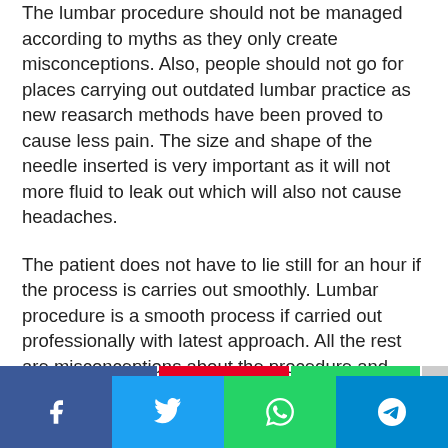The lumbar procedure should not be managed according to myths as they only create misconceptions. Also, people should not go for places carrying out outdated lumbar practice as new reasarch methods have been proved to cause less pain. The size and shape of the needle inserted is very important as it will not more fluid to leak out which will also not cause headaches.
The patient does not have to lie still for an hour if the process is carries out smoothly. Lumbar procedure is a smooth process if carried out professionally with latest approach. All the rest are misconceptions about the procedure and hold no truth.